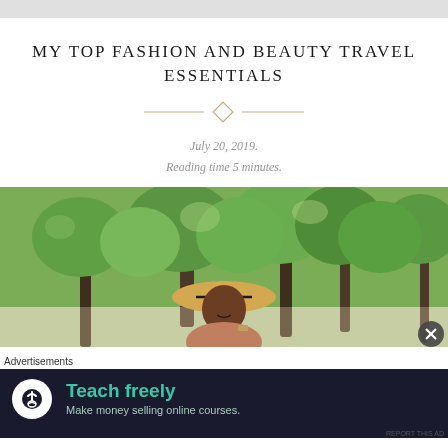MY TOP FASHION AND BEAUTY TRAVEL ESSENTIALS
July 20, 2019.
Reading time 5 minutes.
[Figure (photo): Woman wearing a straw hat smiling outdoors in front of green trees]
Advertisements
[Figure (infographic): Advertisement banner: Teach freely — Make money selling online courses.]